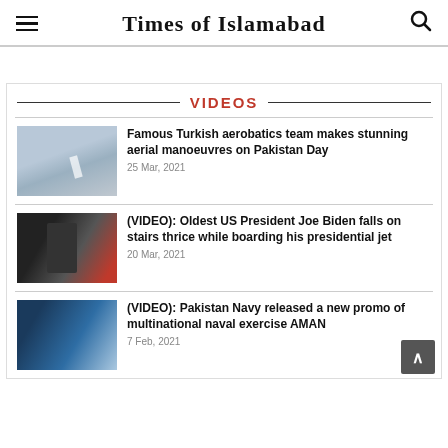Times of Islamabad
VIDEOS
Famous Turkish aerobatics team makes stunning aerial manoeuvres on Pakistan Day
25 Mar, 2021
(VIDEO): Oldest US President Joe Biden falls on stairs thrice while boarding his presidential jet
20 Mar, 2021
(VIDEO): Pakistan Navy released a new promo of multinational naval exercise AMAN
7 Feb, 2021